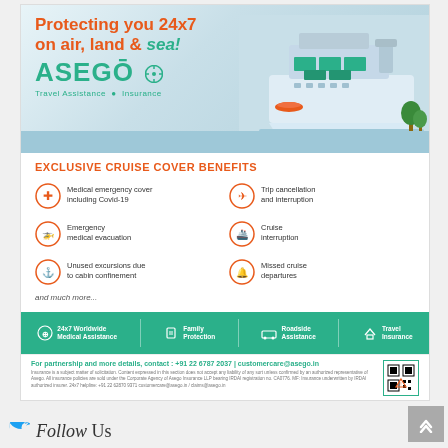[Figure (illustration): ASEGO Travel Assistance & Insurance advertisement banner with cruise ship illustration, headline 'Protecting you 24x7 on air, land & sea!', and ASEGO logo with compass icon]
EXCLUSIVE CRUISE COVER BENEFITS
Medical emergency cover including Covid-19
Trip cancellation and interruption
Emergency medical evacuation
Cruise interruption
Unused excursions due to cabin confinement
Missed cruise departures
and much more...
24x7 Worldwide Medical Assistance | Family Protection | Roadside Assistance | Travel Insurance
For partnership and more details, contact : +91 22 6787 2037 | customercare@asego.in
Insurance is a subject matter of solicitation. Content expressed in this section does not accept any liability of any sort unless confirmed by an authorized representative of Asego. All insurance policies are sold under the Corporate Agency of Asego Insurance LLP bearing IRDAI registration no. CA0776. MF: Insurance underwritten by IRDAI authorized insurer. 24x7 helpline: +91 22 62870 9371 customercare@asego.in / claims@asego.in
Follow Us